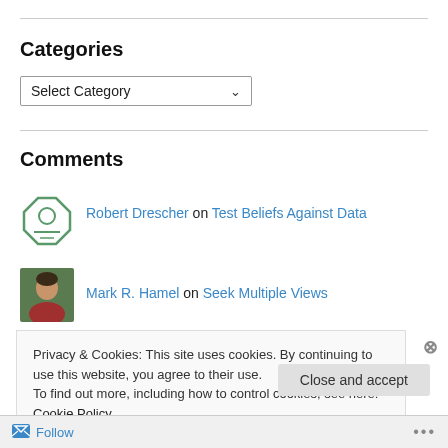Categories
Select Category
Comments
Robert Drescher on Test Beliefs Against Data
Mark R. Hamel on Seek Multiple Views
Privacy & Cookies: This site uses cookies. By continuing to use this website, you agree to their use.
To find out more, including how to control cookies, see here: Cookie Policy
Close and accept
Follow